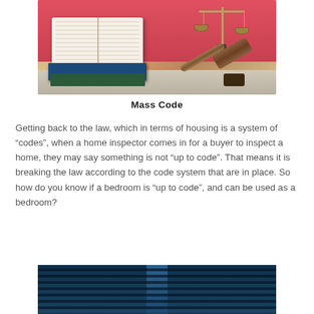[Figure (photo): Photo of open law books stacked on a table alongside a judge's gavel and scales of justice with a pinkish-red background]
Mass Code
Getting back to the law, which in terms of housing is a system of “codes”, when a home inspector comes in for a buyer to inspect a home, they may say something is not “up to code”. That means it is breaking the law according to the code system that are in place. So how do you know if a bedroom is “up to code”, and can be used as a bedroom?
[Figure (photo): Dark photo of what appears to be a room with venetian blinds and minimal lighting, dark blue-black tones]